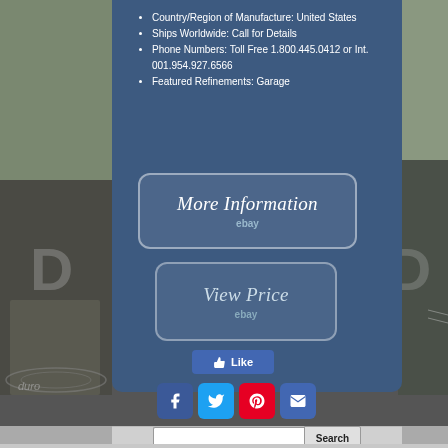Country/Region of Manufacture: United States
Ships Worldwide: Call for Details
Phone Numbers: Toll Free 1.800.445.0412 or Int. 001.954.927.6566
Featured Refinements: Garage
[Figure (screenshot): More Information button with eBay branding]
[Figure (screenshot): View Price button with eBay branding]
[Figure (screenshot): Facebook Like button]
[Figure (screenshot): Social media icons row: Facebook, Twitter, Pinterest, Email]
[Figure (screenshot): Search input box with Search button]
ends  open    direct